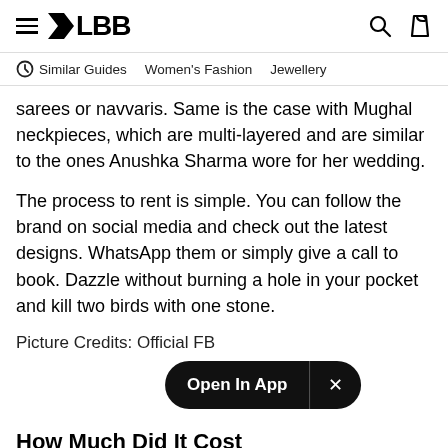≡ LBB [search icon] [bag icon]
Similar Guides   Women's Fashion   Jewellery
sarees or navvaris. Same is the case with Mughal neckpieces, which are multi-layered and are similar to the ones Anushka Sharma wore for her wedding.
The process to rent is simple. You can follow the brand on social media and check out the latest designs. WhatsApp them or simply give a call to book. Dazzle without burning a hole in your pocket and kill two birds with one stone.
Picture Credits: Official FB
How Much Did It Cost
₹1000 - ₹3000